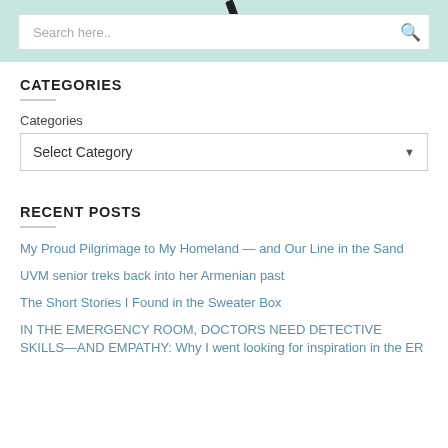[Figure (screenshot): Website header with teal/mint background, search bar with search icon, and partial logo image (pen/stethoscope) visible at top]
CATEGORIES
Categories
Select Category
RECENT POSTS
My Proud Pilgrimage to My Homeland — and Our Line in the Sand
UVM senior treks back into her Armenian past
The Short Stories I Found in the Sweater Box
IN THE EMERGENCY ROOM, DOCTORS NEED DETECTIVE SKILLS—AND EMPATHY: Why I went looking for inspiration in the ER